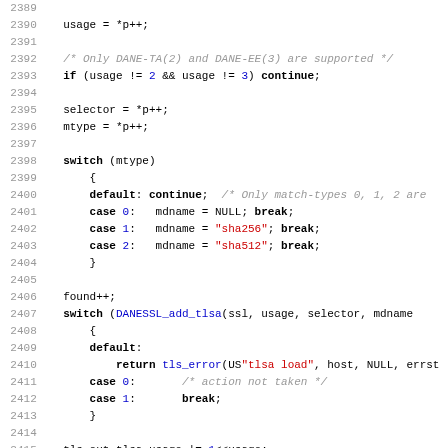[Figure (screenshot): Source code listing in C showing lines 2389-2420+, featuring DANE SSL TLSA handling logic with switch statements, string literals in red, keywords in bold, line numbers in grey, and comments in italics.]